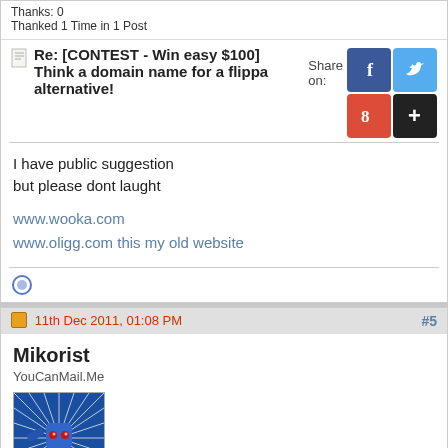Thanks: 0
Thanked 1 Time in 1 Post
Re: [CONTEST - Win easy $100] Think a domain name for a flippa alternative!
I have public suggestion
but please dont laught

www.wooka.com
www.oligg.com this my old website
11th Dec 2011, 01:08 PM
#5
Mikorist
YouCanMail.Me
[Figure (illustration): Avatar image of a blue robot/superhero character with red eyes and radiating lines in blue and white tones]